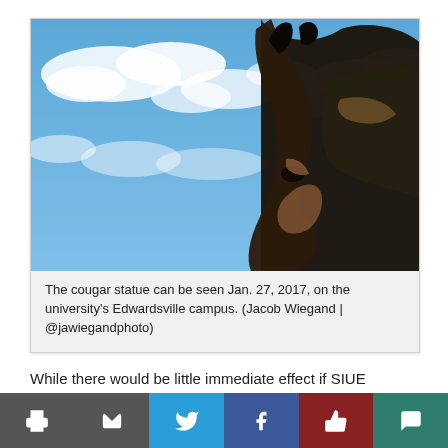[Figure (photo): Close-up upward-angle photo of a bronze cougar statue against a blue sky with clouds, taken at SIUE's Edwardsville campus on Jan. 27, 2017.]
The cougar statue can be seen Jan. 27, 2017, on the university's Edwardsville campus. (Jacob Wiegand | @jawiegandphoto)
While there would be little immediate effect if SIUE